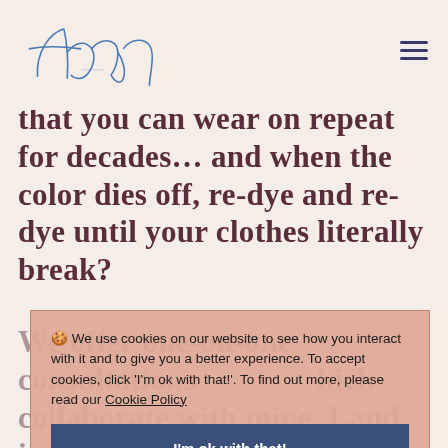talu [logo] [hamburger menu]
that you can wear on repeat for decades… and when the color dies off, re-dye and re-dye until your clothes literally break?
🍪 We use cookies on our website to see how you interact with it and to give you a better experience. To accept cookies, click 'I'm ok with that!'. To find out more, please read our Cookie Policy
I'm ok with that!
We offer one-on-one consultations… collaborate with mine. Land in which you'd like and how your vegetable garden to plan your dyes all year long to grow what you need for each season?